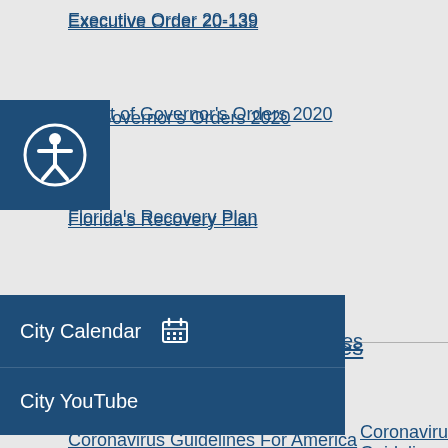Executive Order 20-139
t of Governor's Orders 2020
Florida's Recovery Plan
Coronavirus Guidelines For America
* *This page will be updated as more information becomes available.**
[Figure (other): Accessibility icon button (person with circle)]
[Figure (other): City Calendar navigation menu item with calendar icon]
[Figure (other): City YouTube navigation menu item]
[Figure (other): YouTube social media circle icon button]
[Figure (other): Facebook social media circle icon button]